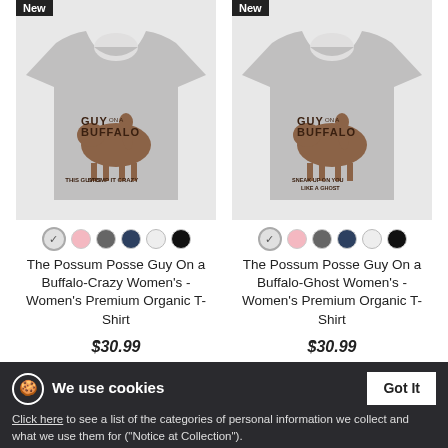[Figure (photo): Grey women's t-shirt with 'Guy on a Buffalo - Crazy' graphic design, shown with 'New' badge]
[Figure (photo): Grey women's t-shirt with 'Guy on a Buffalo - Ghost' graphic design, shown with 'New' badge]
The Possum Posse Guy On a Buffalo-Crazy Women's - Women's Premium Organic T-Shirt
The Possum Posse Guy On a Buffalo-Ghost Women's - Women's Premium Organic T-Shirt
$30.99
$30.99
We use cookies
Click here to see a list of the categories of personal information we collect and what we use them for ("Notice at Collection").
Privacy Policy
Do Not Sell My Personal Information
By using this website, I agree to the Terms and Conditions